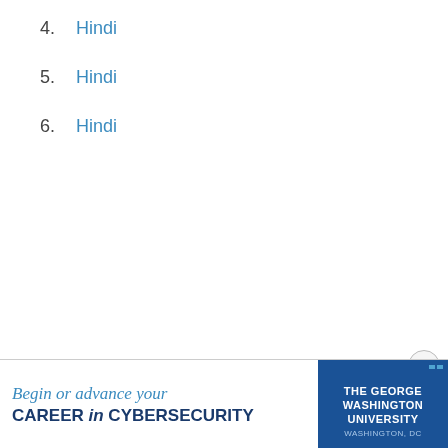4. Hindi
5. Hindi
6. Hindi
[Figure (other): Advertisement banner: 'Begin or advance your CAREER in CYBERSECURITY' with The George Washington University logo, Washington, DC]